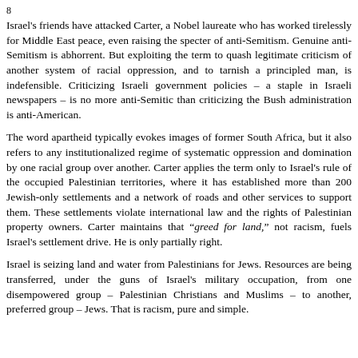8
Israel's friends have attacked Carter, a Nobel laureate who has worked tirelessly for Middle East peace, even raising the specter of anti-Semitism. Genuine anti-Semitism is abhorrent. But exploiting the term to quash legitimate criticism of another system of racial oppression, and to tarnish a principled man, is indefensible. Criticizing Israeli government policies – a staple in Israeli newspapers – is no more anti-Semitic than criticizing the Bush administration is anti-American.
The word apartheid typically evokes images of former South Africa, but it also refers to any institutionalized regime of systematic oppression and domination by one racial group over another. Carter applies the term only to Israel's rule of the occupied Palestinian territories, where it has established more than 200 Jewish-only settlements and a network of roads and other services to support them. These settlements violate international law and the rights of Palestinian property owners. Carter maintains that “greed for land,” not racism, fuels Israel's settlement drive. He is only partially right.
Israel is seizing land and water from Palestinians for Jews. Resources are being transferred, under the guns of Israel's military occupation, from one disempowered group – Palestinian Christians and Muslims – to another, preferred group – Jews. That is racism, pure and simple.